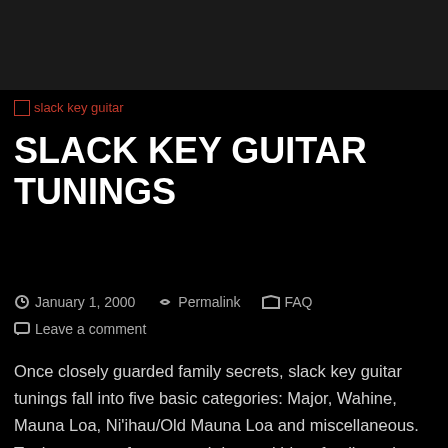[Figure (other): Dark banner/header area at top of webpage]
[Figure (other): Broken image placeholder labeled 'slack key guitar' in red text]
SLACK KEY GUITAR TUNINGS
January 1, 2000   Permalink   FAQ   Leave a comment
Once closely guarded family secrets, slack key guitar tunings fall into five basic categories: Major, Wahine, Mauna Loa, Ni'ihau/Old Mauna Loa and miscellaneous. Tunings were often passed down within a family and unique styles developed within a region of an island. Even today, slack key artists are likely to draw from the traditions of the area where